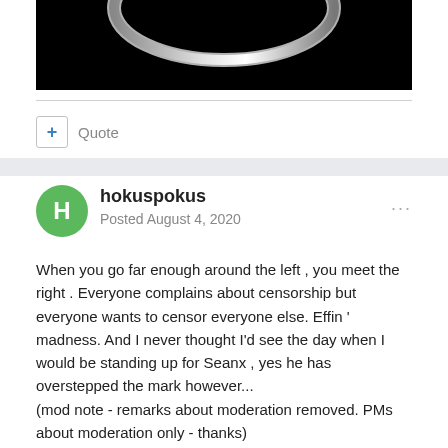[Figure (photo): Dark image showing a partial ring/circle shape (chrome or silver ring) against a black background, cropped at top]
+ Quote
hokuspokus
Posted August 4, 2020
When you go far enough around the left , you meet the right . Everyone complains about censorship but everyone wants to censor everyone else. Effin ' madness.  And I never thought I'd see the day when I would be standing up for Seanx , yes he has overstepped the mark however...
(mod note - remarks about moderation removed. PMs about moderation only - thanks)